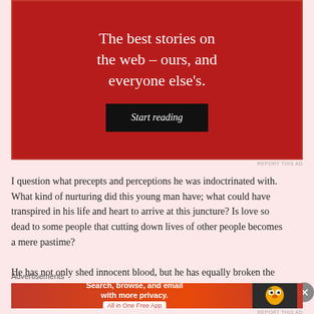[Figure (other): Advertisement with dark red background showing the text 'The best stories on the web – ours, and everyone else's.' with a 'Start reading' button in black]
REPORT THIS AD
I question what precepts and perceptions he was indoctrinated with. What kind of nurturing did this young man have; what could have transpired in his life and heart to arrive at this juncture? Is love so dead to some people that cutting down lives of other people becomes a mere pastime?
He has not only shed innocent blood, but he has equally broken the
Advertisements
[Figure (other): DuckDuckGo advertisement banner: 'Search, browse, and email with more privacy. All in One Free App' with DuckDuckGo logo on dark background]
REPORT THIS AD